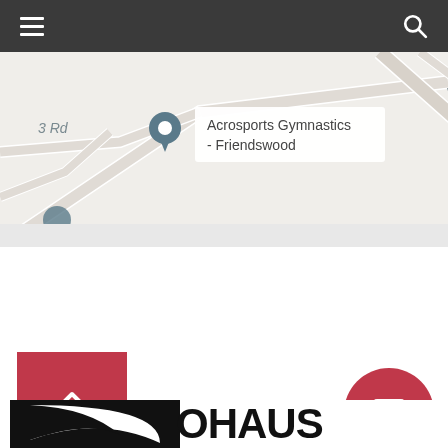[Figure (screenshot): Mobile app navigation bar with hamburger menu icon on left and search icon on right, dark gray background]
[Figure (map): Google Maps screenshot showing Acrosports Gymnastics - Friendswood location marker on W Nasa Blvd]
[Figure (other): Red back-to-top button with upward chevron arrow]
[Figure (other): Red rounded chat/message button with speech bubble icon]
[Figure (logo): Ohaus brand logo with black swoosh icon and bold OHAUS text]